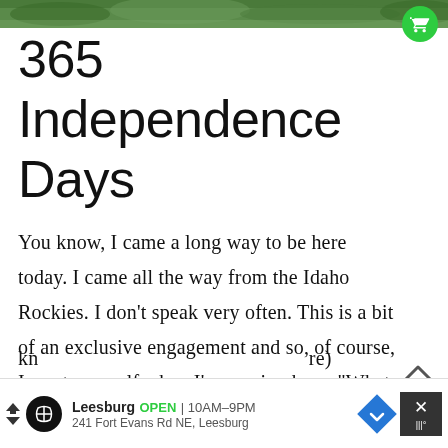[Figure (photo): Outdoor nature/forest scene banner image at the top of the page]
365 Independence Days
You know, I came a long way to be here today. I came all the way from the Idaho Rockies. I don’t speak very often. This is a bit of an exclusive engagement and so, of course, I say to myself when I’m coming here, “What can I say in this amount of time? How can I pack generations of kn... [re]
[Figure (screenshot): Advertisement banner: Leesburg store OPEN 10AM-9PM, 241 Fort Evans Rd NE, Leesburg with navigation diamond icon and close/weather icons]